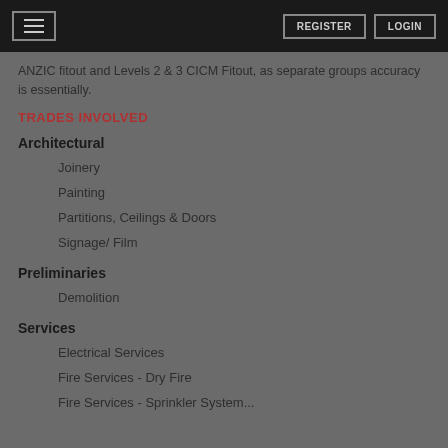REGISTER | LOGIN
ANZIC fitout and Levels 2 & 3 CICM Fitout, as separate groups accuracy is essentially.
TRADES INVOLVED
Architectural
Joinery
Painting
Partitions, Ceilings & Doors
Signage/ Film
Preliminaries
Demolition
Services
Electrical Services
Fire Services - Dry Fire
Fire Services - Sprinkler System...